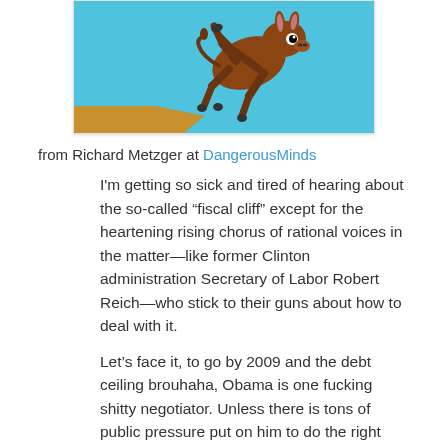[Figure (illustration): Cartoon illustration of a donkey/Wile E. Coyote-style animal running off the edge of a cliff, mid-air, against a bright blue sky background. The cliff edge is visible in the lower left corner.]
from Richard Metzger at DangerousMinds
I'm getting so sick and tired of hearing about the so-called “fiscal cliff” except for the heartening rising chorus of rational voices in the matter—like former Clinton administration Secretary of Labor Robert Reich—who stick to their guns about how to deal with it.
Let’s face it, to go by 2009 and the debt ceiling brouhaha, Obama is one fucking shitty negotiator. Unless there is tons of public pressure put on him to do the right thing, I fear he’ll cave in to the Republicans on raising the